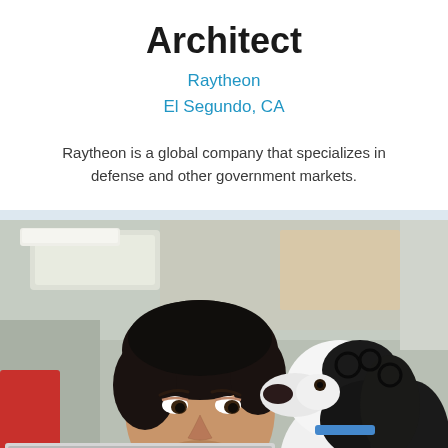Architect
Raytheon
El Segundo, CA
Raytheon is a global company that specializes in defense and other government markets.
[Figure (photo): A young man with dark hair wearing a dark green sweater looks at a black and white dog (spaniel type) in an office setting. A laptop is visible in the foreground. The background shows a blurred modern office environment.]